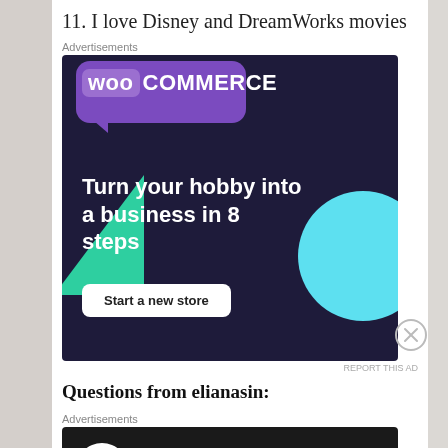11. I love Disney and DreamWorks movies
Advertisements
[Figure (infographic): WooCommerce advertisement: dark purple background with WooCommerce logo, green triangle shape, cyan circle, text 'Turn your hobby into a business in 8 steps', and a 'Start a new store' button.]
REPORT THIS AD
Questions from elianasin:
Advertisements
[Figure (infographic): Teachable advertisement on dark background: circular icon with person/stack graphic, text 'Turn your blog into a money-making online course.' with arrow.]
REPORT THIS AD